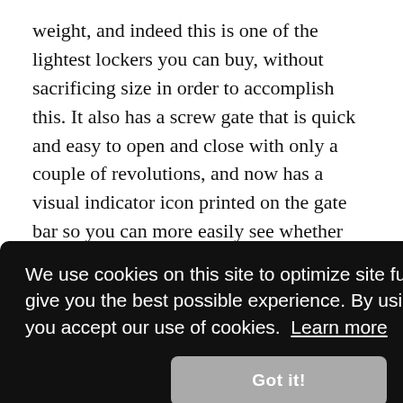weight, and indeed this is one of the lightest lockers you can buy, without sacrificing size in order to accomplish this. It also has a screw gate that is quick and easy to open and close with only a couple of revolutions, and now has a visual indicator icon printed on the gate bar so you can more easily see whether the gate is fully closed or not.

There are few downsides to this very affordable locker, but the biggest is inherent in the offset-D shape — it's simply not
[Figure (screenshot): Cookie consent overlay on dark background with text: 'We use cookies on this site to optimize site functionality and give you the best possible experience. By using this site, you accept our use of cookies. Learn more' and a 'Got it!' button.]
for a full-sized locker; there is no need to sacrifice size and